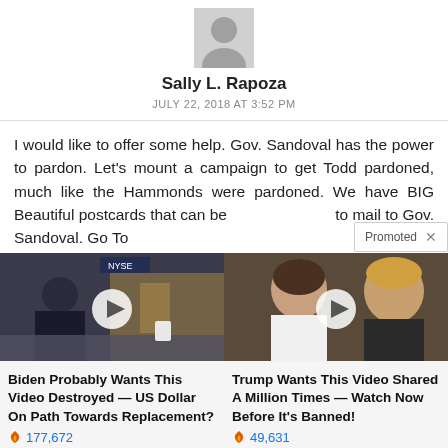[Figure (illustration): Gray silhouette avatar icon of a person]
Sally L. Rapoza
JULY 22, 2018 AT 3:52 PM
I would like to offer some help. Gov. Sandoval has the power to pardon. Let's mount a campaign to get Todd pardoned, much like the Hammonds were pardoned. We have BIG Beautiful postcards that can be [covered] to mail to Gov. Sandoval. Go To
Promoted
[Figure (photo): Thumbnail of Biden video ad showing a man in a suit at what appears to be NYSE]
Biden Probably Wants This Video Destroyed — US Dollar On Path Towards Replacement?
177,672
[Figure (photo): Thumbnail of Trump video ad showing Melania and Donald Trump]
Trump Wants This Video Shared A Million Times — Watch Now Before It's Banned!
49,631